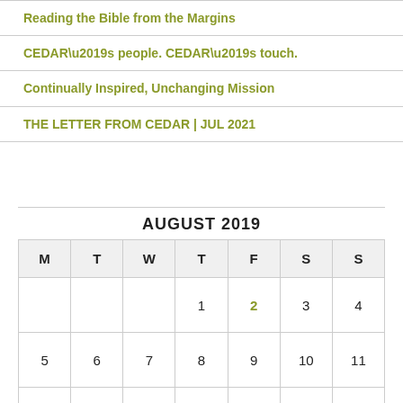Reading the Bible from the Margins
CEDAR’s people. CEDAR’s touch.
Continually Inspired, Unchanging Mission
THE LETTER FROM CEDAR | JUL 2021
| M | T | W | T | F | S | S |
| --- | --- | --- | --- | --- | --- | --- |
|  |  |  | 1 | 2 | 3 | 4 |
| 5 | 6 | 7 | 8 | 9 | 10 | 11 |
| 12 | 13 | 14 | 15 | 16 | 17 | 18 |